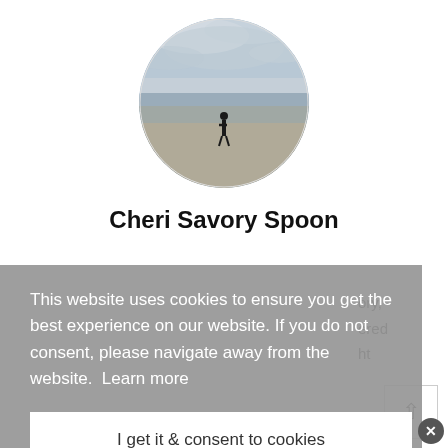[Figure (photo): Circular profile photo of a person standing on a beach with overcast sky]
Cheri Savory Spoon
This website uses cookies to ensure you get the best experience on our website. If you do not consent, please navigate away from the website.  Learn more
I get it & consent to cookies